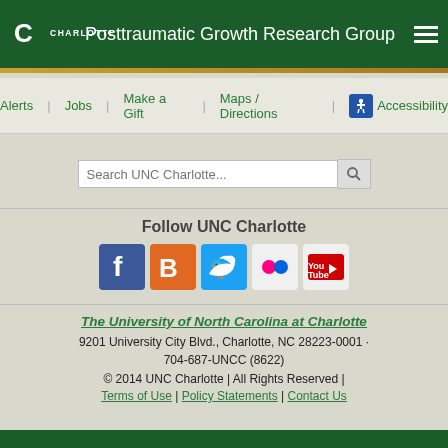Posttraumatic Growth Research Group
Alerts | Jobs | Make a Gift | Maps / Directions | Accessibility
Search UNC Charlotte...
Follow UNC Charlotte
[Figure (other): Social media icons: Facebook, Blogger, Twitter, Flickr, YouTube]
The University of North Carolina at Charlotte
9201 University City Blvd., Charlotte, NC 28223-0001 · 704-687-UNCC (8622)
© 2014 UNC Charlotte | All Rights Reserved |
Terms of Use | Policy Statements | Contact Us